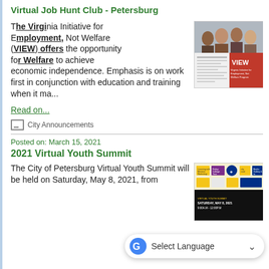Virtual Job Hunt Club - Petersburg
The Virginia Initiative for Employment, Not Welfare (VIEW) offers the opportunity for Welfare to achieve economic independence. Emphasis is on work first in conjunction with education and training when it ma...
[Figure (photo): VIEW brochure cover showing group of professional people and red VIEW logo panel]
Read on...
City Announcements
Posted on: March 15, 2021
2021 Virtual Youth Summit
The City of Petersburg Virtual Youth Summit will be held on Saturday, May 8, 2021, from
[Figure (photo): 2021 Virtual Youth Summit flyer with colorful cards at top and black background with event date Saturday May 8 2021 9:00AM-12:00PM]
Select Language